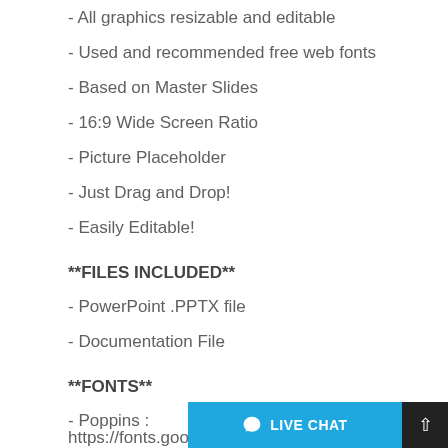- All graphics resizable and editable
- Used and recommended free web fonts
- Based on Master Slides
- 16:9 Wide Screen Ratio
- Picture Placeholder
- Just Drag and Drop!
- Easily Editable!
**FILES INCLUDED**
- PowerPoint .PPTX file
- Documentation File
**FONTS**
- Poppins : https://fonts.google.com/specimen/Poppins
- Work Sans :https://fonts.google.com/specimen/Work+Sans
- Open Sans :https://fonts.google.com/specimen/